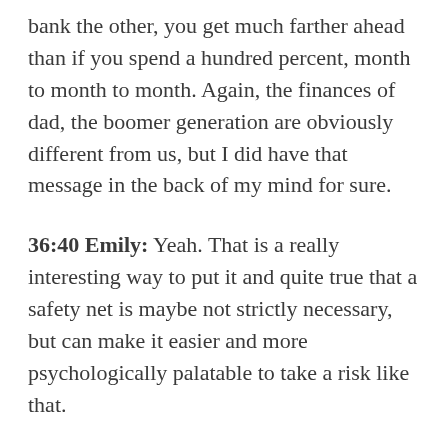bank the other, you get much farther ahead than if you spend a hundred percent, month to month to month. Again, the finances of dad, the boomer generation are obviously different from us, but I did have that message in the back of my mind for sure.
36:40 Emily: Yeah. That is a really interesting way to put it and quite true that a safety net is maybe not strictly necessary, but can make it easier and more psychologically palatable to take a risk like that.